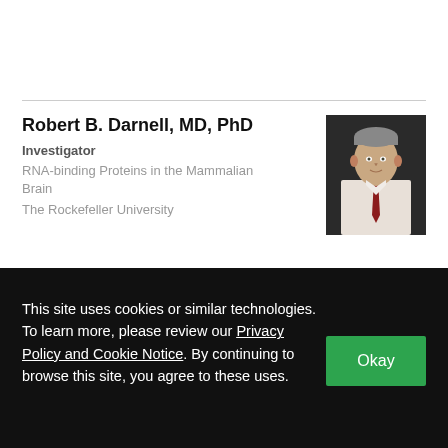Robert B. Darnell, MD, PhD
Investigator
RNA-binding Proteins in the Mammalian Brain
The Rockefeller University
[Figure (photo): Headshot photo of Robert B. Darnell, a middle-aged man in a white dress shirt and red tie, photographed against a dark background]
This site uses cookies or similar technologies. To learn more, please review our Privacy Policy and Cookie Notice. By continuing to browse this site, you agree to these uses.